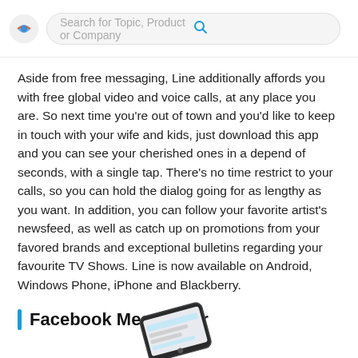Search for Topic, Product or Company
Aside from free messaging, Line additionally affords you with free global video and voice calls, at any place you are. So next time you’re out of town and you'd like to keep in touch with your wife and kids, just download this app and you can see your cherished ones in a depend of seconds, with a single tap. There’s no time restrict to your calls, so you can hold the dialog going for as lengthy as you want. In addition, you can follow your favorite artist's newsfeed, as well as catch up on promotions from your favored brands and exceptional bulletins regarding your favourite TV Shows. Line is now available on Android, Windows Phone, iPhone and Blackberry.
Facebook Messanger
[Figure (photo): A smartphone showing a messaging app screen, partially visible at the bottom of the page.]